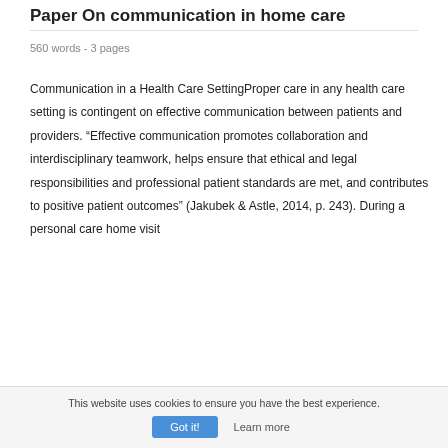Paper On communication in home care
560 words - 3 pages
Communication in a Health Care SettingProper care in any health care setting is contingent on effective communication between patients and providers. "Effective communication promotes collaboration and interdisciplinary teamwork, helps ensure that ethical and legal responsibilities and professional patient standards are met, and contributes to positive patient outcomes" (Jakubek & Astle, 2014, p. 243). During a personal care home visit
This website uses cookies to ensure you have the best experience.